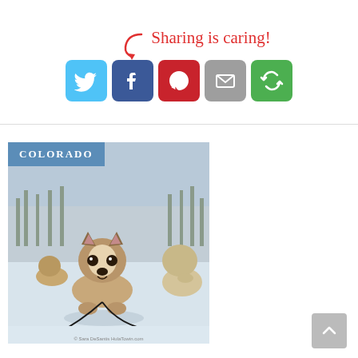Sharing is caring!
[Figure (infographic): Social sharing buttons for Twitter, Facebook, Pinterest, Email, and a share/rotation service, with a red arrow pointing to them and 'Sharing is caring!' text in red cursive above.]
[Figure (photo): Photo of sled dogs (huskies) sitting on snow in Colorado, with a blue 'COLORADO' label overlay in the top-left corner.]